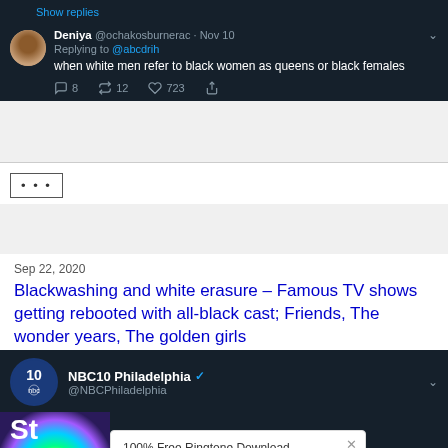[Figure (screenshot): Tweet by Deniya @ochakosburnerac Nov 10 replying to @abcdrih: when white men refer to black women as queens or black females. 8 likes, 12 retweets, 723 hearts.]
...
Sep 22, 2020
Blackwashing and white erasure – Famous TV shows getting rebooted with all-black cast; Friends, The wonder years, The golden girls
[Figure (screenshot): NBC10 Philadelphia @NBCPhiladelphia tweet showing content partially obscured by a 100% Free Ringtone Download ad from Hiappo via PurpleAds. Visible text includes 'St', 'FRINGTONE', '2022', 'Cast on.nbc10.com/obToAn']